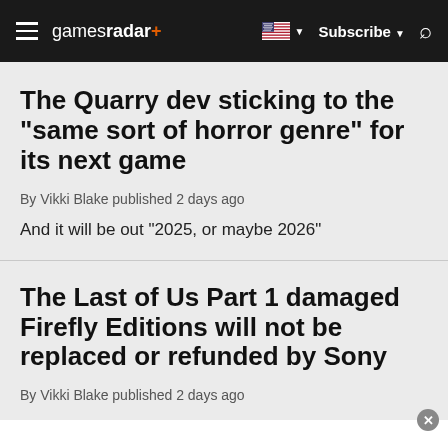gamesradar+  Subscribe
The Quarry dev sticking to the "same sort of horror genre" for its next game
By Vikki Blake published 2 days ago
And it will be out "2025, or maybe 2026"
The Last of Us Part 1 damaged Firefly Editions will not be replaced or refunded by Sony
By Vikki Blake published 2 days ago